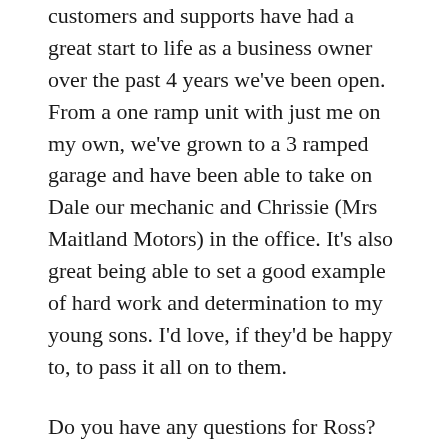customers and supports have had a great start to life as a business owner over the past 4 years we've been open. From a one ramp unit with just me on my own, we've grown to a 3 ramped garage and have been able to take on Dale our mechanic and Chrissie (Mrs Maitland Motors) in the office. It's also great being able to set a good example of hard work and determination to my young sons. I'd love, if they'd be happy to, to pass it all on to them.
Do you have any questions for Ross? Leave them in the comments below and we'll get back to you asap. We always love hearing from you. Likewise if you'd like to book your car in with Maitland Motors, call the office or drop us an email.